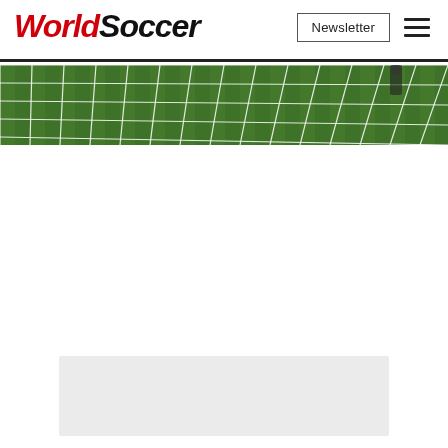WorldSoccer | Newsletter
[Figure (photo): Close-up of a white soccer goal net with green grass pitch visible in the background]
[Figure (other): Grey advertisement/placeholder box at the bottom of the page]